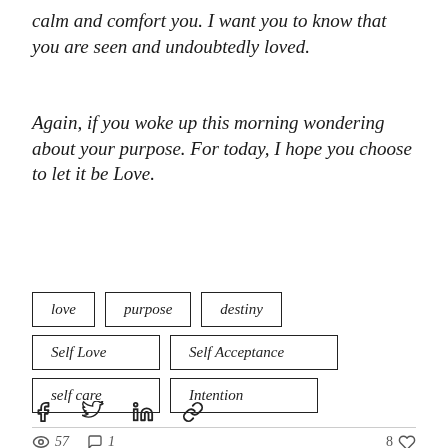calm and comfort you. I want you to know that you are seen and undoubtedly loved.
Again, if you woke up this morning wondering about your purpose. For today, I hope you choose to let it be Love.
love
purpose
destiny
Self Love
Self Acceptance
self care
Intention
57 views  1 comment  8 likes